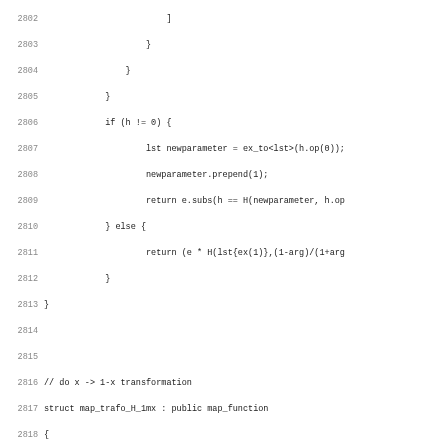Source code listing lines 2802-2834